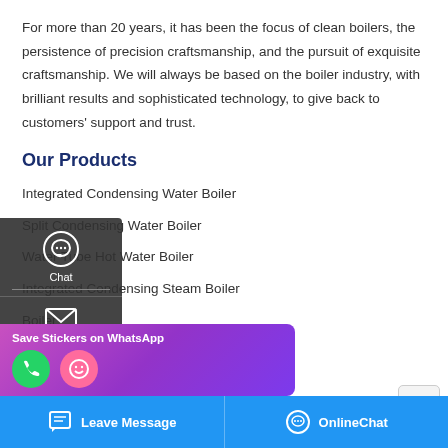For more than 20 years, it has been the focus of clean boilers, the persistence of precision craftsmanship, and the pursuit of exquisite craftsmanship. We will always be based on the boiler industry, with brilliant results and sophisticated technology, to give back to customers' support and trust.
Our Products
Integrated Condensing Water Boiler
Split Condensing Water Boiler
Water Tube Hot Water Boiler
Integrated Condensing Steam Boiler
Boiler
[Figure (screenshot): Left sidebar with Chat, Email, and Contact icons on dark background overlay]
[Figure (screenshot): WhatsApp sticker bar with purple gradient background showing Save Stickers on WhatsApp text and icons]
[Figure (screenshot): Bottom navigation bar with Leave Message and OnlineChat buttons on blue background]